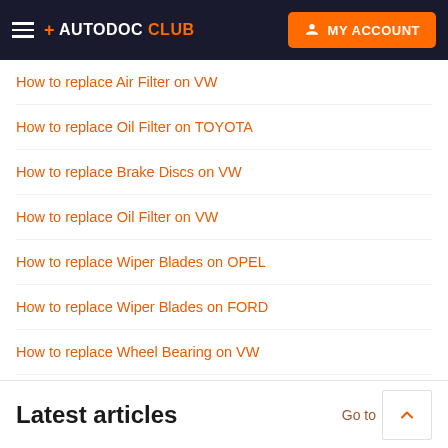+ AUTODOC CLUB | MY ACCOUNT
How to replace Air Filter on VW
How to replace Oil Filter on TOYOTA
How to replace Brake Discs on VW
How to replace Oil Filter on VW
How to replace Wiper Blades on OPEL
How to replace Wiper Blades on FORD
How to replace Wheel Bearing on VW
How to replace Fuel Filter on VW
Latest articles
Go to